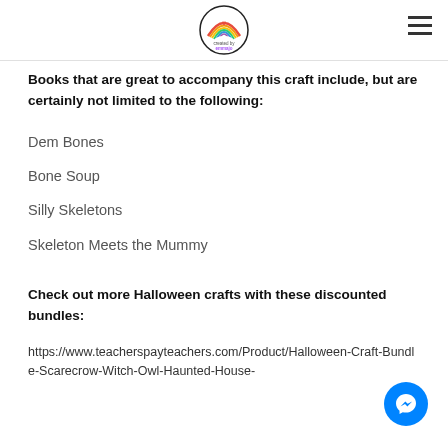[Logo: Created by Teachers] [Hamburger menu]
Books that are great to accompany this craft include, but are certainly not limited to the following:
Dem Bones
Bone Soup
Silly Skeletons
Skeleton Meets the Mummy
Check out more Halloween crafts with these discounted bundles:
https://www.teacherspayteachers.com/Product/Halloween-Craft-Bundle-Scarecrow-Witch-Owl-Haunted-House-